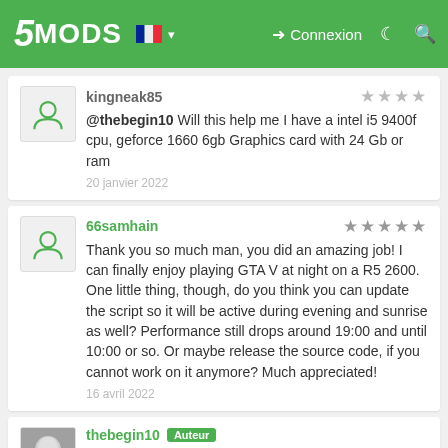5MODS — Connexion
kingneak85 — @thebegin10 Will this help me I have a intel i5 9400f cpu, geforce 1660 6gb Graphics card with 24 Gb or ram — 20 janvier 2022
66samhain — 5 stars — Thank you so much man, you did an amazing job! I can finally enjoy playing GTA V at night on a R5 2600. One little thing, though, do you think you can update the script so it will be active during evening and sunrise as well? Performance still drops around 19:00 and until 10:00 or so. Or maybe release the source code, if you cannot work on it anymore? Much appreciated! — 16 avril 2022
thebegin10 Auteur — @kingneak85 honestly i cant tell, im playing with